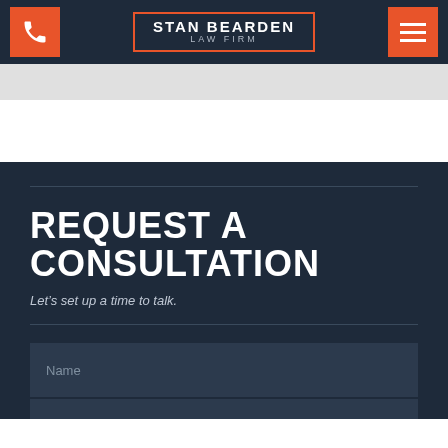Stan Bearden Law Firm
REQUEST A CONSULTATION
Let’s set up a time to talk.
Name